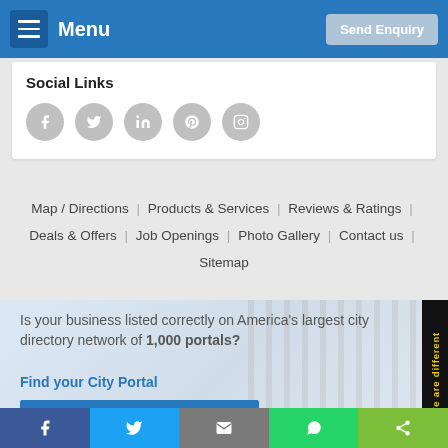Menu | Send Enquiry
Social Links
[Figure (infographic): Social media icons: Facebook, Twitter, LinkedIn, Pinterest, Instagram (grey circles)]
Map / Directions | Products & Services | Reviews & Ratings | Deals & Offers | Job Openings | Photo Gallery | Contact us | Sitemap
Is your business listed correctly on America's largest city directory network of 1,000 portals?
Find your City Portal
CLAIM YOUR LISTING NOW
Facebook | Twitter | Email | WhatsApp | Share